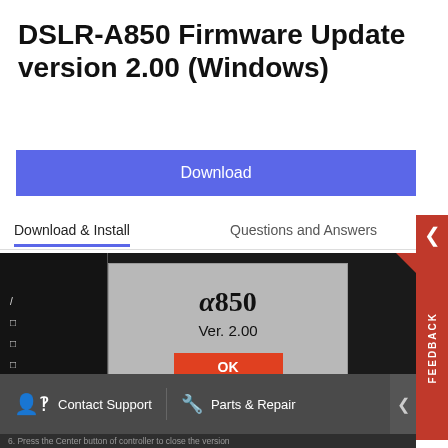DSLR-A850 Firmware Update version 2.00 (Windows)
Download
Download & Install
Questions and Answers
[Figure (screenshot): Camera LCD screen showing alpha 850 firmware version 2.00 confirmation dialog with OK button, bottom bar showing Color Space: sRGB]
Contact Support
Parts & Repair
6. Press the Center button of controller to close the version